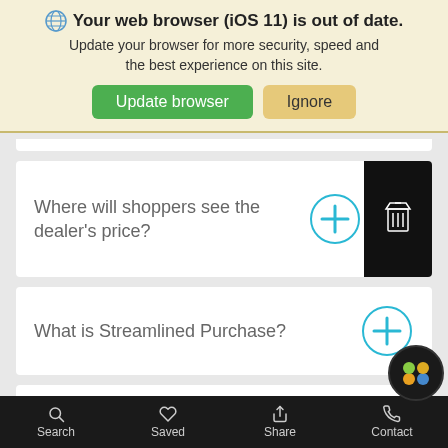[Figure (screenshot): Browser update banner with globe icon, bold warning text, and two buttons: 'Update browser' (green) and 'Ignore' (tan)]
Where will shoppers see the dealer's price?
What is Streamlined Purchase?
What paperwork will a shopper be
Search    Saved    Share    Contact